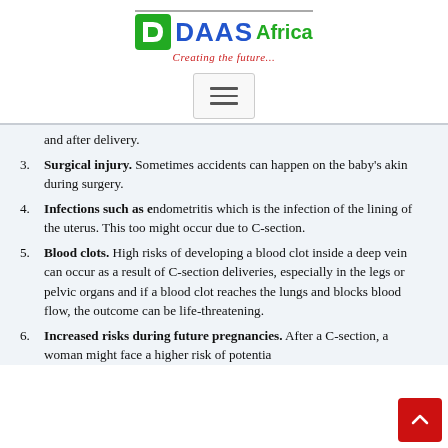[Figure (logo): DAAS Africa logo with tagline 'Creating the future...']
[Figure (other): Hamburger menu button icon]
and after delivery.
Surgical injury. Sometimes accidents can happen on the baby's akin during surgery.
Infections such as endometritis which is the infection of the lining of the uterus. This too might occur due to C-section.
Blood clots. High risks of developing a blood clot inside a deep vein can occur as a result of C-section deliveries, especially in the legs or pelvic organs and if a blood clot reaches the lungs and blocks blood flow, the outcome can be life-threatening.
Increased risks during future pregnancies. After a C-section, a woman might face a higher risk of potentially...